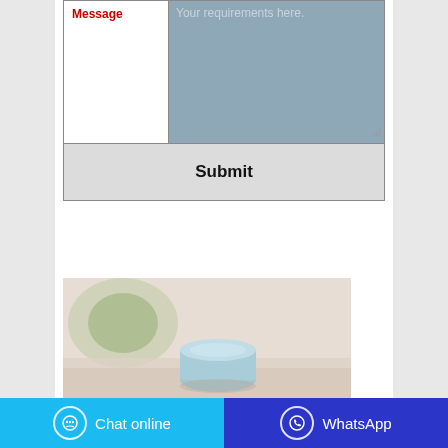[Figure (screenshot): Web contact form partial view showing a 'Message' label in red on the left, a blue-gray textarea with placeholder text 'Your requirements here.' and a resize handle, and a 'Submit' button row with dark text on light gray background.]
[Figure (photo): Product photo showing a small round light blue cosmetic or personal care product container on a white/blurred background with a green plant element visible.]
Chat online
WhatsApp